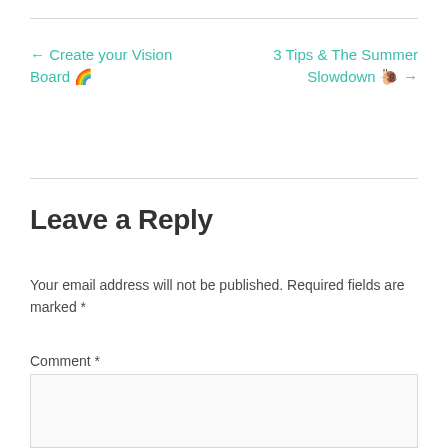← Create your Vision Board 🌈
3 Tips & The Summer Slowdown 🐌 →
Leave a Reply
Your email address will not be published. Required fields are marked *
Comment *